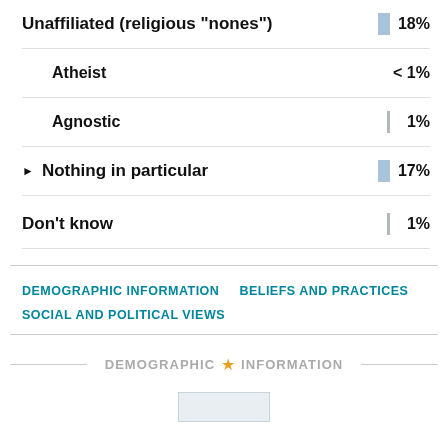Unaffiliated (religious "nones") 18%
Atheist < 1%
Agnostic 1%
Nothing in particular 17%
Don't know 1%
DEMOGRAPHIC INFORMATION
BELIEFS AND PRACTICES
SOCIAL AND POLITICAL VIEWS
DEMOGRAPHIC ★ INFORMATION
[Figure (other): Small placeholder box at bottom left]